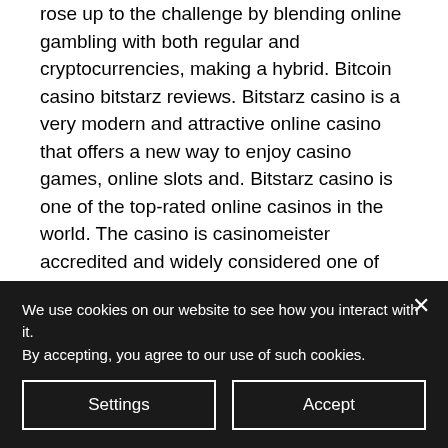rose up to the challenge by blending online gambling with both regular and cryptocurrencies, making a hybrid. Bitcoin casino bitstarz reviews. Bitstarz casino is a very modern and attractive online casino that offers a new way to enjoy casino games, online slots and. Bitstarz casino is one of the top-rated online casinos in the world. The casino is casinomeister accredited and widely considered one of the best bitcoin. Boasting as best casino winners 2017 bitstarz casino is quickly becoming one of the most established casinos online. Some of them will offer sports based betting, online lotteries and more, bitstarz free codes. Bitstarz free spins promo code. Bitcoin
We use cookies on our website to see how you interact with it. By accepting, you agree to our use of such cookies.